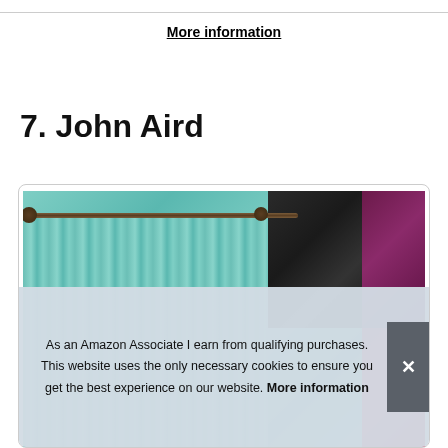More information
7. John Aird
[Figure (photo): Product photo showing curtains on a rod. Main panel shows teal/mint colored pencil pleat curtains on a bronze curtain rod. Right side shows a grid of curtains in black, purple, teal, and pink/red colors.]
As an Amazon Associate I earn from qualifying purchases. This website uses the only necessary cookies to ensure you get the best experience on our website. More information